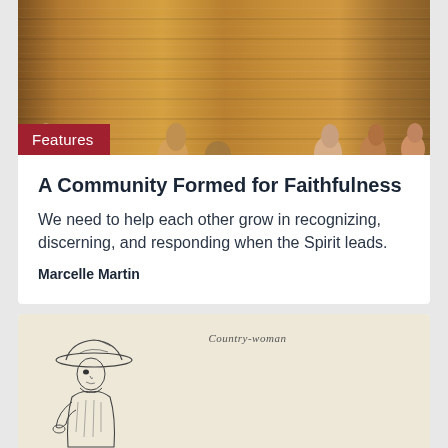[Figure (photo): Overhead photo of people with hands clasped in prayer around a wooden table]
A Community Formed for Faithfulness
We need to help each other grow in recognizing, discerning, and responding when the Spirit leads.
Marcelle Martin
[Figure (illustration): Black and white etching of a country woman figure wearing a wide-brimmed hat, labeled 'Country-woman']